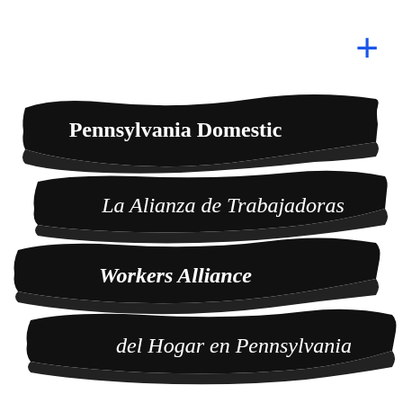[Figure (logo): Logo for Pennsylvania Domestic Workers Alliance / La Alianza de Trabajadoras del Hogar en Pennsylvania. Four wavy black ribbon/banner shapes stacked vertically, each containing white text. First ribbon: 'Pennsylvania Domestic', second ribbon (italic): 'La Alianza de Trabajadoras', third ribbon (bold italic): 'Workers Alliance', fourth ribbon (italic): 'del Hogar en Pennsylvania'. A blue plus sign appears in the upper right corner.]